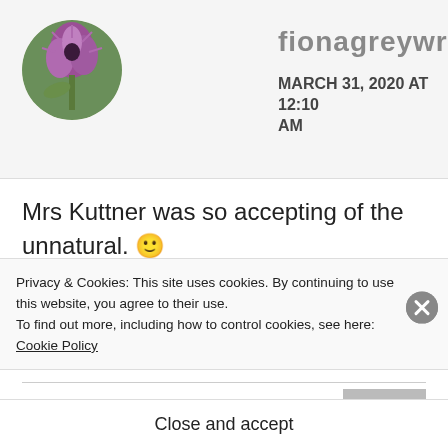fionagreywrites MARCH 31, 2020 AT 12:10 AM
Mrs Kuttner was so accepting of the unnatural. 🙂
★ Liked by 1 person
REPLY
Wildkat
Privacy & Cookies: This site uses cookies. By continuing to use this website, you agree to their use.
To find out more, including how to control cookies, see here:
Cookie Policy
Close and accept